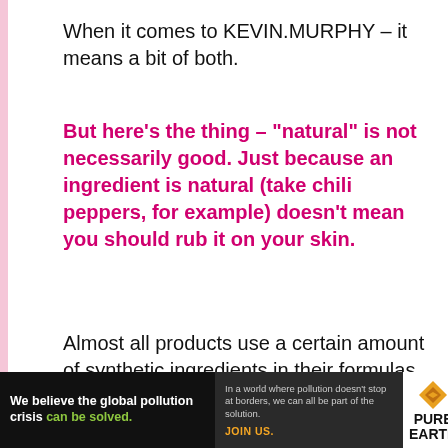When it comes to KEVIN.MURPHY – it means a bit of both.
But here's the thing – "natural" is not necessarily good. Just because an ingredient is natural (take chili peppers, for example) doesn't mean you should rub it on your skin.
Almost all products use a certain amount of synthetic ingredients in their formulas and KEVIN.MURPHY is no exception – but it chooses to use better or clean synthetics.
If a synthetic ingredient is "clean," it is safe and non-toxic for us. Its purpose is to
[Figure (screenshot): Video player overlay showing 'No compatible source was found for this media.' message on gray background with close button]
[Figure (infographic): Advertisement banner for Pure Earth: 'We believe the global pollution crisis can be solved.' with Pure Earth logo and text about joining the solution.]